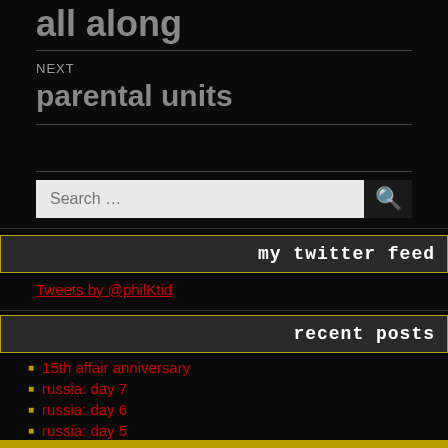all along
NEXT
parental units
Search ...
my twitter feed
Tweets by @philKtid
recent posts
15th affair anniversary
russia: day 7
russia: day 6
russia: day 5
russia: day 4